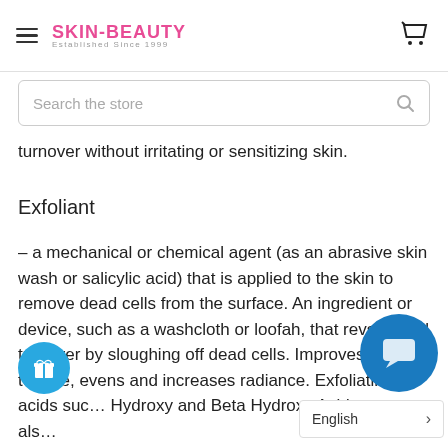SKIN-BEAUTY Established Since 1999
Search the store
turnover without irritating or sensitizing skin.
Exfoliant
- a mechanical or chemical agent (as an abrasive skin wash or salicylic acid) that is applied to the skin to remove dead cells from the surface. An ingredient or device, such as a washcloth or loofah, that revs up cell turnover by sloughing off dead cells. Improves skin texture, evens and increases radiance. Exfoliating acids such as Alpha Hydroxy and Beta Hydroxy Acids may als…